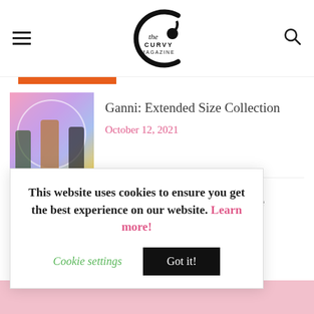The Curvy Magazine
[Figure (photo): Partial fashion photo visible behind header on top left]
[Figure (photo): Orange partial bar beneath header]
Ganni: Extended Size Collection
October 12, 2021
Women We Love: Dominique
October 6, 2021
This website uses cookies to ensure you get the best experience on our website. Learn more!
Cookie settings   Got it!